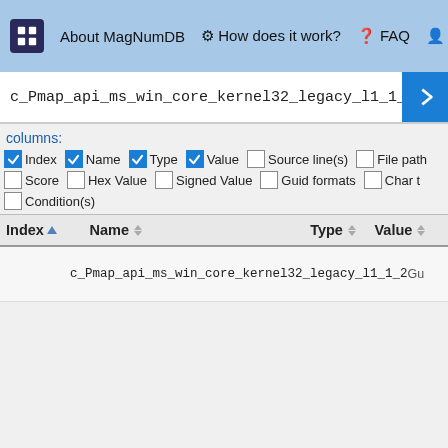About MagNumDB   How does it work?   FAQ   Priv
c_Pmap_api_ms_win_core_kernel32_legacy_l1_1_2
columns: Index Name Type Value Source line(s) File path Score Hex Value Signed Value Guid formats Char t Condition(s)
| Index | Name | Type | Value |
| --- | --- | --- | --- |
|  | c_Pmap_api_ms_win_core_kernel32_legacy_l1_1_2 | Gu |  |